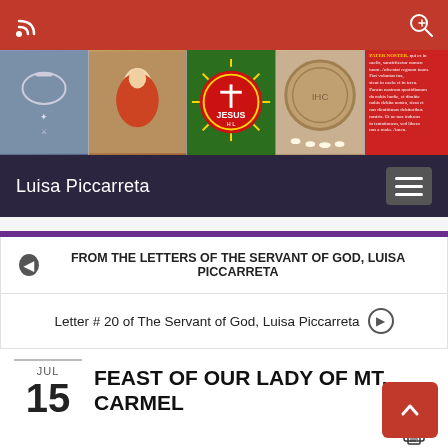Luisa Piccarreta
[Figure (screenshot): Website header banner with religious images: coat of arms, Madonna with child painting, Jesus emblem on green background, circular carved relief, and Pater Noster prayer text on red background]
FROM THE LETTERS OF THE SERVANT OF GOD, LUISA PICCARRETA
Letter # 20 of The Servant of God, Luisa Piccarreta
FEAST OF OUR LADY OF MT. CARMEL
JUL 15
[Figure (illustration): Partial religious illustration at the bottom of the page, appears to show figures in a devotional scene]